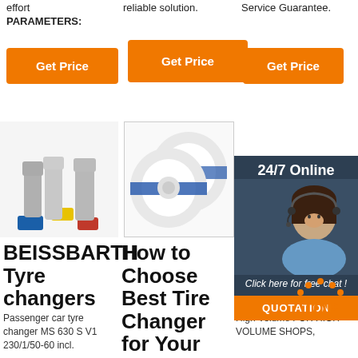effort
PARAMETERS:
reliable solution.
Service Guarantee.
[Figure (other): Orange 'Get Price' button, column 1]
[Figure (other): Orange 'Get Price' button, column 2]
[Figure (other): Orange 'Get Price' button, column 3]
[Figure (photo): Electrical connectors/terminals in blue, yellow, red]
[Figure (photo): Two rolls of white and blue tape]
BEISSBARTH Tyre changers
How to Choose Best Tire Changer for Your Shop? - ASE
more... Tire Changers
Passenger car tyre changer MS 630 S V1 230/1/50-60 incl.
High Volume FOR HIGH-VOLUME SHOPS,
[Figure (other): 24/7 Online support chat sidebar with customer service agent photo, 'Click here for free chat!' text, and QUOTATION button]